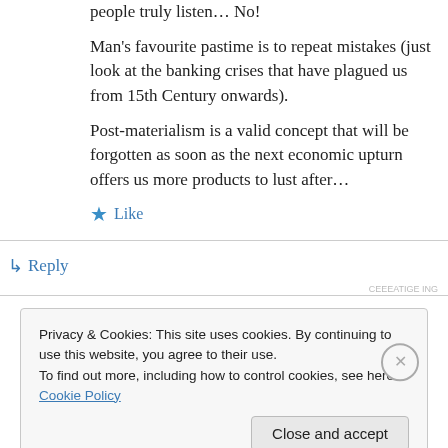people truly listen… No!
Man's favourite pastime is to repeat mistakes (just look at the banking crises that have plagued us from 15th Century onwards).
Post-materialism is a valid concept that will be forgotten as soon as the next economic upturn offers us more products to lust after…
★ Like
↳ Reply
Privacy & Cookies: This site uses cookies. By continuing to use this website, you agree to their use.
To find out more, including how to control cookies, see here: Cookie Policy
Close and accept